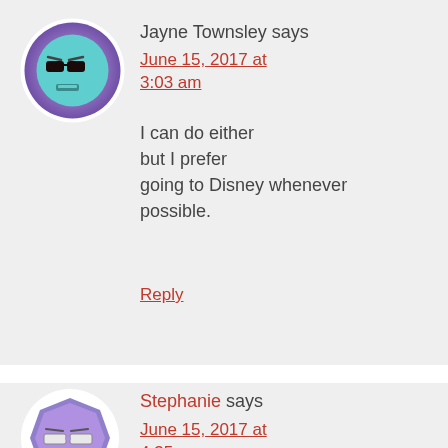[Figure (illustration): Cartoon avatar of an angry teal face emoji wearing dark sunglasses, circular with purple gradient border]
Jayne Townsley says
June 15, 2017 at 3:03 am
I can do either but I prefer going to Disney whenever possible.
Reply
[Figure (illustration): Cartoon avatar of a purple octagon face emoji wearing glasses with a skeptical expression]
Stephanie says
June 15, 2017 at 4:35 am